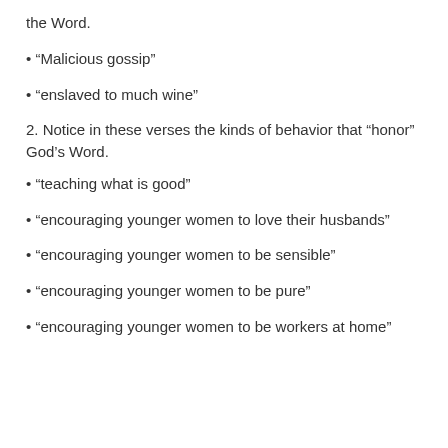the Word.
• “Malicious gossip”
• “enslaved to much wine”
2. Notice in these verses the kinds of behavior that “honor” God’s Word.
• “teaching what is good”
• “encouraging younger women to love their husbands”
• “encouraging younger women to be sensible”
• “encouraging younger women to be pure”
• “encouraging younger women to be workers at home”